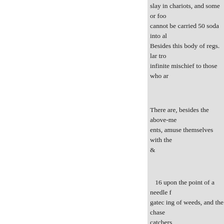slay in chariots, and some or foo cannot be carried 50 soda into al Besides this body of regs. lar tro infinite mischief to those who ar
There are, besides the above-men ents, amuse themselves with the &
16 upon the point of a needle f gatec ing of weeds, and the chase catcbers
When I consider how each of the them, and how many men of me than the profession; I very much their sons in a way of life where probity, learning, and good sense themselves aldermen of London, laid out upon a learned educatio have thrived in trade, though he s one, whom he would not venture little thick-sculled; he has not a s is, that parents take a liking to a m